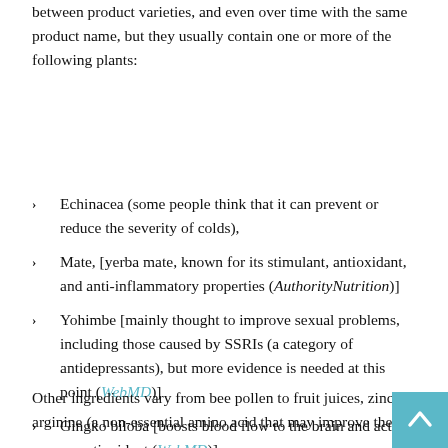between product varieties, and even over time with the same product name, but they usually contain one or more of the following plants:
Echinacea (some people think that it can prevent or reduce the severity of colds),
Mate, [yerba mate, known for its stimulant, antioxidant, and anti-inflammatory properties (AuthorityNutrition)]
Yohimbe [mainly thought to improve sexual problems, including those caused by SSRIs (a category of antidepressants), but more evidence is needed at this point (WebMD)]
Gingko biloba [boosts blood flow to the brain and acts as an antioxidant (WebMD)]
Other ingredients vary from bee pollen to fruit juices, zinc, arginine (a non-essential amino acid that may improve the